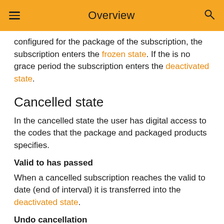Overview
configured for the package of the subscription, the subscription enters the frozen state. If the is no grace period the subscription enters the deactivated state.
Cancelled state
In the cancelled state the user has digital access to the codes that the package and packaged products specifies.
Valid to has passed
When a cancelled subscription reaches the valid to date (end of interval) it is transferred into the deactivated state.
Undo cancellation
A end-user might undo a cancellation in which case the